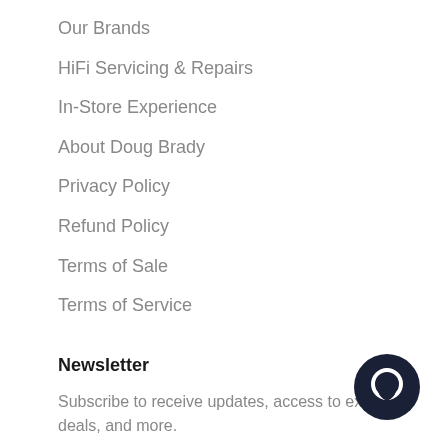Our Brands
HiFi Servicing & Repairs
In-Store Experience
About Doug Brady
Privacy Policy
Refund Policy
Terms of Sale
Terms of Service
Newsletter
Subscribe to receive updates, access to exclu deals, and more.
[Figure (illustration): Dark circular chat/message icon in bottom right corner]